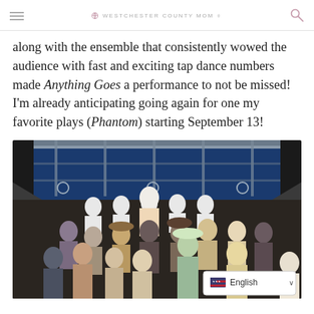WESTCHESTER COUNTY MOM
along with the ensemble that consistently wowed the audience with fast and exciting tap dance numbers made Anything Goes a performance to not be missed! I'm already anticipating going again for one my favorite plays (Phantom) starting September 13!
[Figure (photo): Cast photo from Anything Goes theatrical production on a ship deck set, performers in 1930s costumes, sailors in white uniforms saluting in the back row, with a language selector (English) overlay in the bottom right corner]